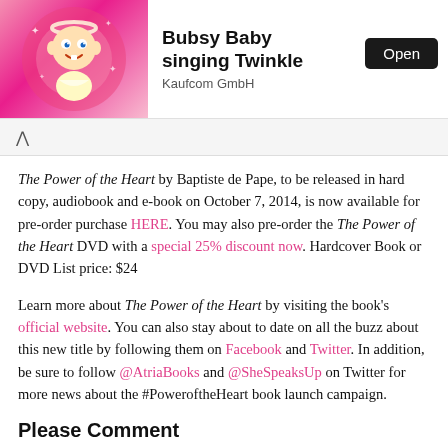[Figure (screenshot): App store banner showing a baby cartoon app called 'Bubsy Baby singing Twinkle' by Kaufcom GmbH with an Open button]
The Power of the Heart by Baptiste de Pape, to be released in hard copy, audiobook and e-book on October 7, 2014, is now available for pre-order purchase HERE. You may also pre-order the The Power of the Heart DVD with a special 25% discount now. Hardcover Book or DVD List price: $24
Learn more about The Power of the Heart by visiting the book's official website. You can also stay about to date on all the buzz about this new title by following them on Facebook and Twitter. In addition, be sure to follow @AtriaBooks and @SheSpeaksUp on Twitter for more news about the #PoweroftheHeart book launch campaign.
Please Comment
You're invited to leave a comment below this post, sharing your three blessings for today.